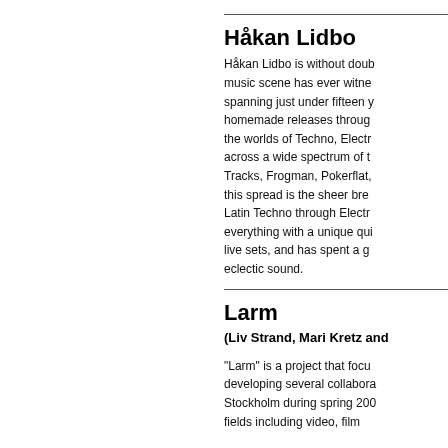Håkan Lidbo
Håkan Lidbo is without doub music scene has ever witne spanning just under fifteen y homemade releases throug the worlds of Techno, Electr across a wide spectrum of t Tracks, Frogman, Pokerflat, this spread is the sheer bre Latin Techno through Electr everything with a unique qui live sets, and has spent a g eclectic sound.
Larm
(Liv Strand, Mari Kretz and
"Larm" is a project that focu developing several collabora Stockholm during spring 200 fields including video, film